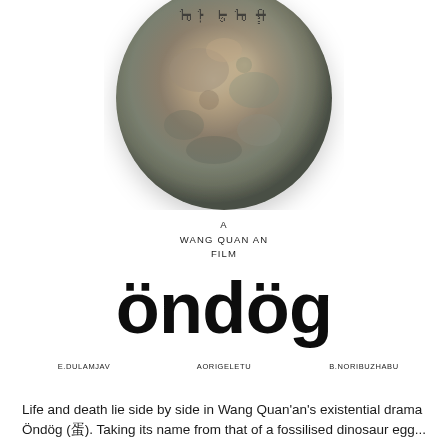[Figure (photo): A rounded granite/stone rock photographed against a white background, with Mongolian script carved or engraved at the top of the stone.]
A
WANG QUAN AN
FILM
öndög
E.DULAMJAV    AORIGELETU    B.NORIBUZHABU
Life and death lie side by side in Wang Quan'an's existential drama Öndög (蛋). Taking its name from that of a fossilised dinosaur egg...